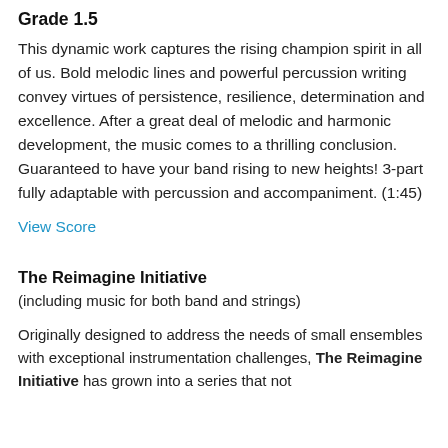Grade 1.5
This dynamic work captures the rising champion spirit in all of us. Bold melodic lines and powerful percussion writing convey virtues of persistence, resilience, determination and excellence. After a great deal of melodic and harmonic development, the music comes to a thrilling conclusion. Guaranteed to have your band rising to new heights! 3-part fully adaptable with percussion and accompaniment. (1:45)
View Score
The Reimagine Initiative
(including music for both band and strings)
Originally designed to address the needs of small ensembles with exceptional instrumentation challenges, The Reimagine Initiative has grown into a series that not